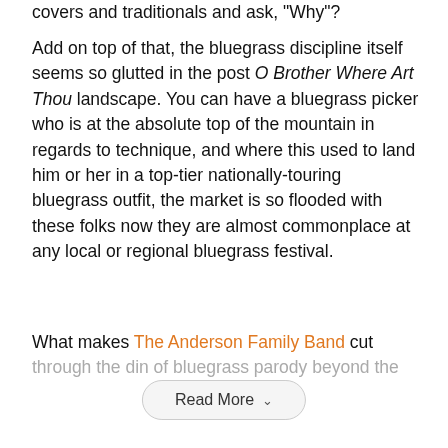covers and traditionals and ask, "Why"?
Add on top of that, the bluegrass discipline itself seems so glutted in the post O Brother Where Art Thou landscape. You can have a bluegrass picker who is at the absolute top of the mountain in regards to technique, and where this used to land him or her in a top-tier nationally-touring bluegrass outfit, the market is so flooded with these folks now they are almost commonplace at any local or regional bluegrass festival.
What makes The Anderson Family Band cut through the din of bluegrass parody beyond the